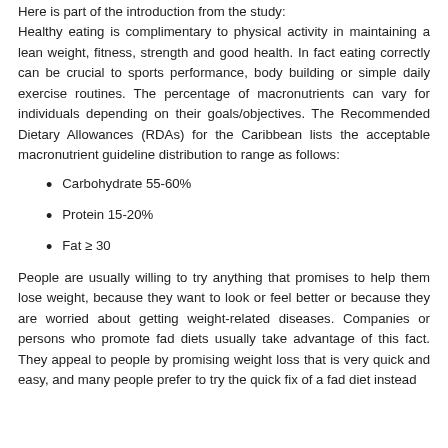Here is part of the introduction from the study: Healthy eating is complimentary to physical activity in maintaining a lean weight, fitness, strength and good health. In fact eating correctly can be crucial to sports performance, body building or simple daily exercise routines. The percentage of macronutrients can vary for individuals depending on their goals/objectives. The Recommended Dietary Allowances (RDAs) for the Caribbean lists the acceptable macronutrient guideline distribution to range as follows:
Carbohydrate 55-60%
Protein 15-20%
Fat ≥ 30
People are usually willing to try anything that promises to help them lose weight, because they want to look or feel better or because they are worried about getting weight-related diseases. Companies or persons who promote fad diets usually take advantage of this fact. They appeal to people by promising weight loss that is very quick and easy, and many people prefer to try the quick fix of a fad diet instead